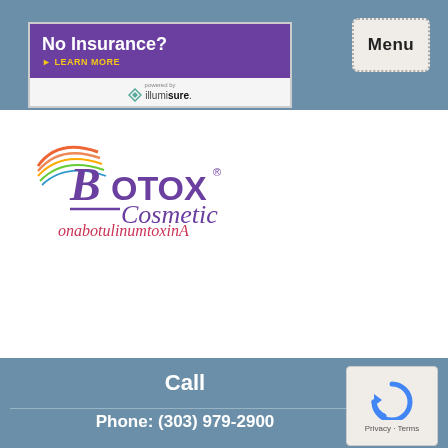Menu
[Figure (logo): No Insurance? Learn More - powered by illumisure banner ad]
[Figure (logo): Botox Cosmetic onabotulinumtoxinA logo]
Call
Phone: (303) 979-2900